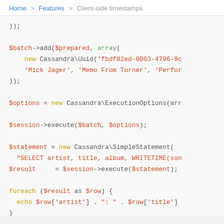Home > Features > Client-side timestamps
));

$batch->add($prepared, array(
    new Cassandra\Uuid('fbdf82ed-0063-4796-9c
    'Mick Jager', 'Memo From Turner', 'Perfor
));

$options = new Cassandra\ExecutionOptions(arr

$session->execute($batch, $options);

$statement = new Cassandra\SimpleStatement(
  "SELECT artist, title, album, WRITETIME(son
$result     = $session->execute($statement);

foreach ($result as $row) {
  echo $row['artist'] . ": " . $row['title']
}